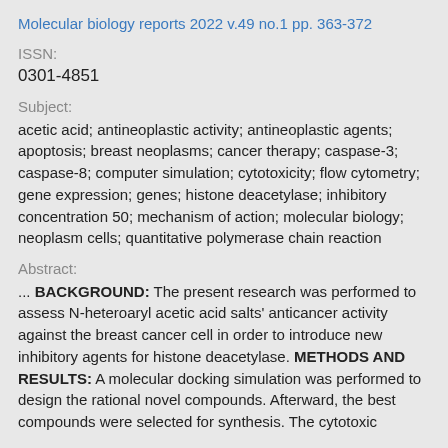Molecular biology reports 2022 v.49 no.1 pp. 363-372
ISSN:
0301-4851
Subject:
acetic acid; antineoplastic activity; antineoplastic agents; apoptosis; breast neoplasms; cancer therapy; caspase-3; caspase-8; computer simulation; cytotoxicity; flow cytometry; gene expression; genes; histone deacetylase; inhibitory concentration 50; mechanism of action; molecular biology; neoplasm cells; quantitative polymerase chain reaction
Abstract:
... BACKGROUND: The present research was performed to assess N-heteroaryl acetic acid salts' anticancer activity against the breast cancer cell in order to introduce new inhibitory agents for histone deacetylase. METHODS AND RESULTS: A molecular docking simulation was performed to design the rational novel compounds. Afterward, the best compounds were selected for synthesis. The cytotoxic